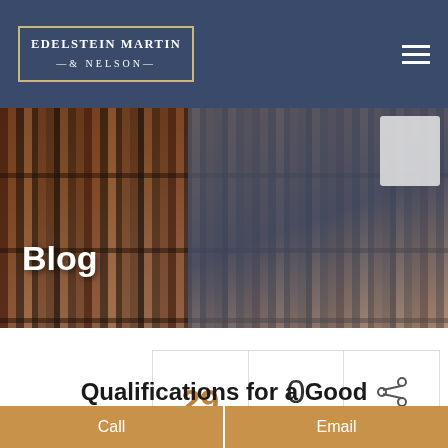EDELSTEIN MARTIN & NELSON
[Figure (photo): Law firm blog hero image showing a man in a suit looking at law books on a bookshelf, with 'Blog' text overlay]
Blog
| 29 | 0 Comments | Share |
| --- | --- | --- |
Qualifications for a Good
Call
Email